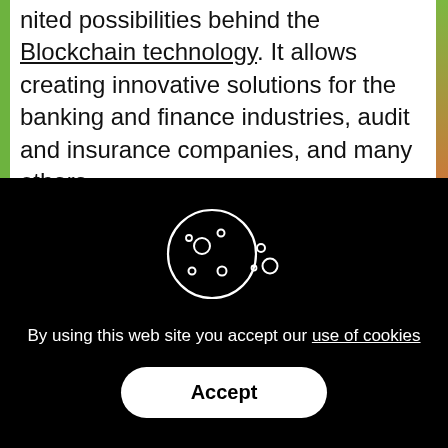nited possibilities behind the Blockchain technology. It allows creating innovative solutions for the banking and finance industries, audit and insurance companies, and many others.
[Figure (illustration): Cookie icon: a circular cookie with a bite taken out, decorated with dots/chips, and small crumbs floating beside it. White outline on black background.]
By using this web site you accept our use of cookies
Accept